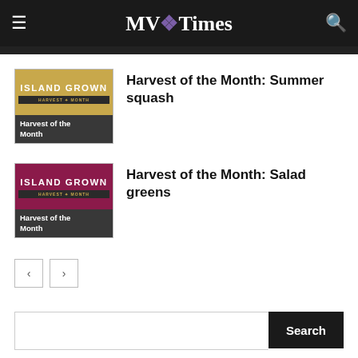MV Times
[Figure (screenshot): Island Grown Harvest of the Month thumbnail image with gold background]
Harvest of the Month: Summer squash
[Figure (screenshot): Island Grown Harvest of the Month thumbnail image with maroon background]
Harvest of the Month: Salad greens
Pagination navigation with previous and next buttons
Search